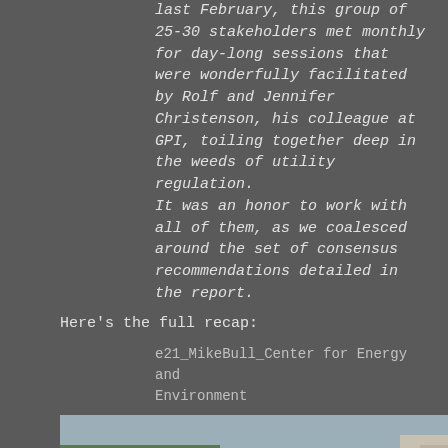last February, this group of 25-30 stakeholders met monthly for day-long sessions that were wonderfully facilitated by Rolf and Jennifer Christenson, his colleague at GPI, toiling together deep in the weeds of utility regulation. It was an honor to work with all of them, as we coalesced around the set of consensus recommendations detailed in the report.
Here's the full recap:
e21_MikeBull_Center for Energy and Environment
[Figure (photo): Bronze bull statue lying on its side on a cobblestone street, with trees and buildings in background]
The legislation, SF1735, well, check the links below, and you can see how that went down.  I was there, seeing is believing.  First it was introduced, but despite the full room of